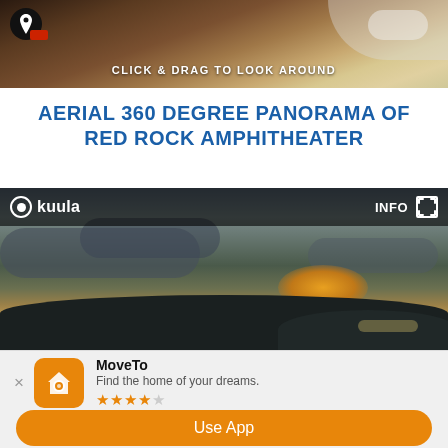[Figure (photo): Aerial overhead view of Red Rock Amphitheater showing rock formations, roads and snow-capped areas. Overlay text reads 'CLICK & DRAG TO LOOK AROUND']
AERIAL 360 DEGREE PANORAMA OF RED ROCK AMPHITHEATER
[Figure (screenshot): Kuula 360 panorama embed showing a sunset landscape with clouds. Top bar shows Kuula logo on left and INFO button with expand icon on right.]
MoveTo
Find the home of your dreams.
★★★★☆
Use App